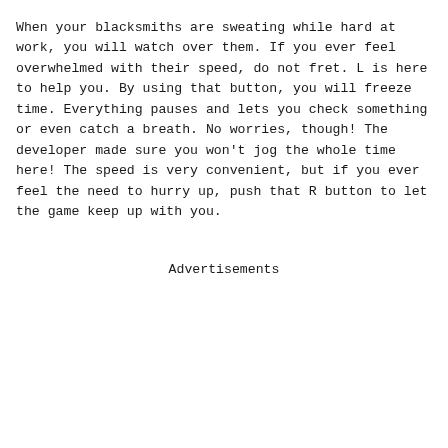When your blacksmiths are sweating while hard at work, you will watch over them. If you ever feel overwhelmed with their speed, do not fret. L is here to help you. By using that button, you will freeze time. Everything pauses and lets you check something or even catch a breath. No worries, though! The developer made sure you won't jog the whole time here! The speed is very convenient, but if you ever feel the need to hurry up, push that R button to let the game keep up with you.
Advertisements